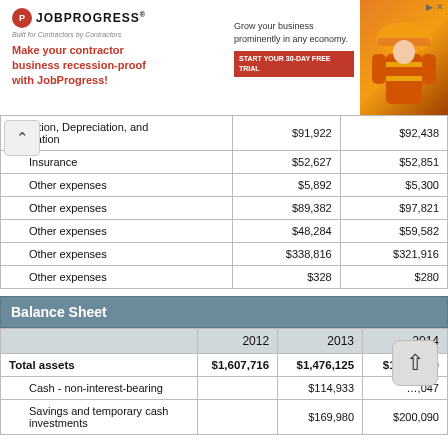[Figure (other): JobProgress advertisement banner showing a contractor in orange safety vest with text 'Make your contractor business recession-proof with JobProgress!']
|  |  |  |
| --- | --- | --- |
| ...ciation, Depreciation, and Amortization | $91,922 | $92,438 |
| Insurance | $52,627 | $52,851 |
| Other expenses | $5,892 | $5,300 |
| Other expenses | $89,382 | $97,821 |
| Other expenses | $48,284 | $59,582 |
| Other expenses | $338,816 | $321,916 |
| Other expenses | $328 | $280 |
Balance Sheet
|  | 2012 | 2013 | 2014 |
| --- | --- | --- | --- |
| Total assets | $1,607,716 | $1,476,125 | $1,4[?],870 |
| Cash - non-interest-bearing |  | $114,933 | [?],047 |
| Savings and temporary cash investments |  | $169,980 | $200,090 |